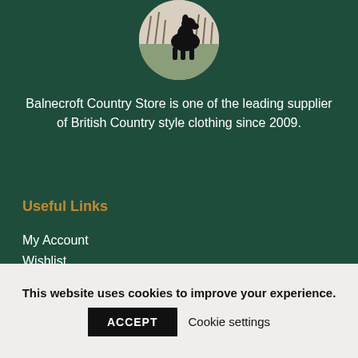[Figure (photo): Circular cropped photo of a black dog in a field, silhouette visible against reeds or grass]
Balnecroft Country Store is one of the leading supplier of British Country style clothing since 2009.
Useful Links
My Account
Wishlist
Customer care
This website uses cookies to improve your experience.
ACCEPT
Cookie settings